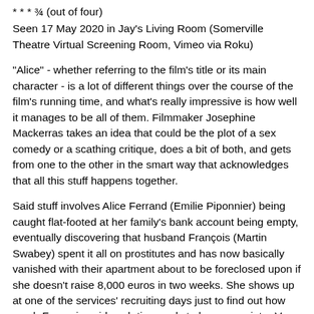* * * ¾ (out of four)
Seen 17 May 2020 in Jay's Living Room (Somerville Theatre Virtual Screening Room, Vimeo via Roku)
"Alice" - whether referring to the film's title or its main character - is a lot of different things over the course of the film's running time, and what's really impressive is how well it manages to be all of them. Filmmaker Josephine Mackerras takes an idea that could be the plot of a sex comedy or a scathing critique, does a bit of both, and gets from one to the other in the smart way that acknowledges that all this stuff happens together.
Said stuff involves Alice Ferrand (Emilie Piponnier) being caught flat-footed at her family's bank account being empty, eventually discovering that husband François (Martin Swabey) spent it all on prostitutes and has now basically vanished with their apartment about to be foreclosed upon if she doesn't raise 8,000 euros in two weeks. She shows up at one of the services' recruiting days just to find out how much François paid each time, only to have proprietor Vera (Marie-laure Dougnac) decide she likes Alice's good-girl vibe and